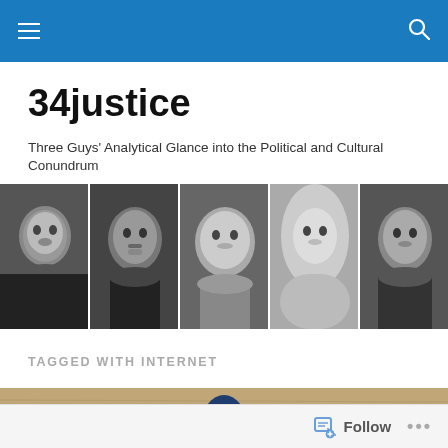34justice navigation bar
34justice
Three Guys' Analytical Glance into the Political and Cultural Conundrum
[Figure (photo): Black and white photo strip showing five civil rights and social justice figures: a woman (Ida B. Wells), Martin Luther King Jr., an elderly woman, Malala Yousafzai, and Cesar Chavez]
TAGGED WITH INTERNET
[Figure (photo): Partial photo at bottom of page showing a person with a blue jacket or bag on a wooden surface]
Follow ...